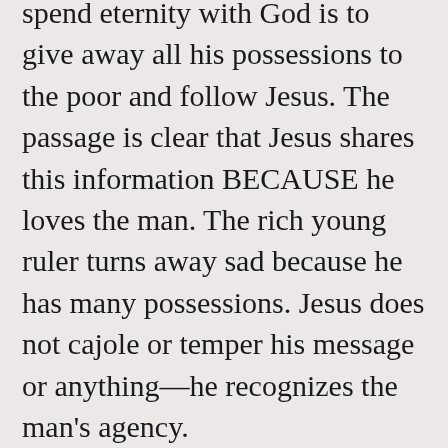spend eternity with God is to give away all his possessions to the poor and follow Jesus. The passage is clear that Jesus shares this information BECAUSE he loves the man. The rich young ruler turns away sad because he has many possessions. Jesus does not cajole or temper his message or anything—he recognizes the man's agency.
And yet, ministry today, which often mixes the preservation of crumbling facilities and the deep desire by pastors to preserve the comfort and meaning that long-term members have to their experience of church while creating space for a new generation who experience God in ways almost antithetical to those currently in the church…well, talk about navigating a lot of attachments. And pastors bring our own attachments as well. Many of us who